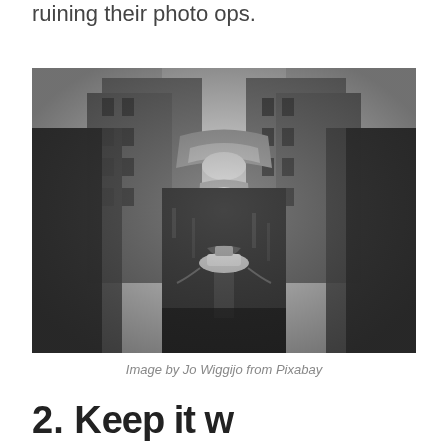ruining their photo ops.
[Figure (photo): Black and white photograph of a Venice canal viewed through a narrow gap, showing the Bridge of Sighs in the background with a small boat on the canal water, tall historic buildings on both sides, blurred foreground elements framing the shot.]
Image by Jo Wiggijo from Pixabay
2. Keep it w...